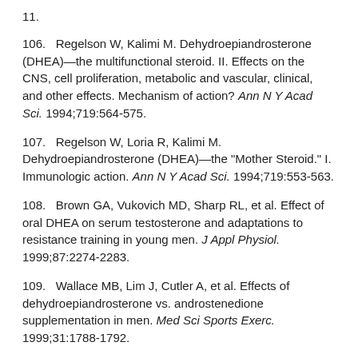11.
106.   Regelson W, Kalimi M. Dehydroepiandrosterone (DHEA)—the multifunctional steroid. II. Effects on the CNS, cell proliferation, metabolic and vascular, clinical, and other effects. Mechanism of action? Ann N Y Acad Sci. 1994;719:564-575.
107.   Regelson W, Loria R, Kalimi M. Dehydroepiandrosterone (DHEA)—the "Mother Steroid." I. Immunologic action. Ann N Y Acad Sci. 1994;719:553-563.
108.   Brown GA, Vukovich MD, Sharp RL, et al. Effect of oral DHEA on serum testosterone and adaptations to resistance training in young men. J Appl Physiol. 1999;87:2274-2283.
109.   Wallace MB, Lim J, Cutler A, et al. Effects of dehydroepiandrosterone vs. androstenedione supplementation in men. Med Sci Sports Exerc. 1999;31:1788-1792.
110.   Morales AJ, Haubrich RH, Hwang JY, et al. The effect of six months treatment with a 100 mg daily dose of dehydroepiandrosterone (DHEA) on circulating sex steroids, body composition and muscle strength in age